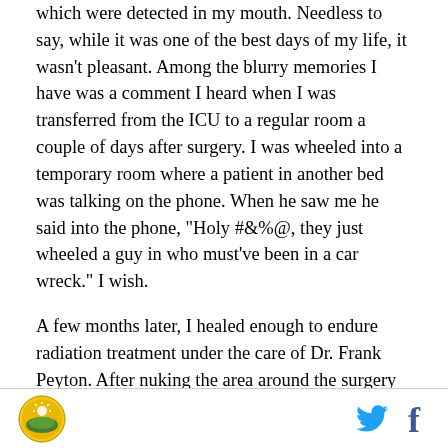which were detected in my mouth. Needless to say, while it was one of the best days of my life, it wasn't pleasant. Among the blurry memories I have was a comment I heard when I was transferred from the ICU to a regular room a couple of days after surgery. I was wheeled into a temporary room where a patient in another bed was talking on the phone. When he saw me he said into the phone, "Holy #&%@, they just wheeled a guy in who must've been in a car wreck." I wish.

A few months later, I healed enough to endure radiation treatment under the care of Dr. Frank Peyton. After nuking the area around the surgery for six weeks
[logo] [twitter] [facebook]